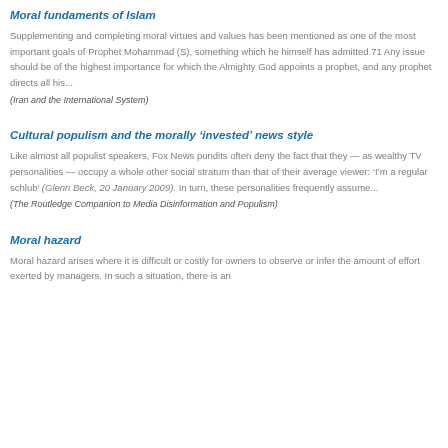Moral fundaments of Islam
Supplementing and completing moral virtues and values has been mentioned as one of the most important goals of Prophet Mohammad (S), something which he himself has admitted.71 Any issue should be of the highest importance for which the Almighty God appoints a prophet, and any prophet directs all his...
(Iran and the International System)
Cultural populism and the morally ‘invested’ news style
Like almost all populist speakers, Fox News pundits often deny the fact that they — as wealthy TV personalities — occupy a whole other social stratum than that of their average viewer: ‘I’m a regular schlub’ (Glenn Beck, 20 January 2009). In turn, these personalities frequently assume...
(The Routledge Companion to Media Disinformation and Populism)
Moral hazard
Moral hazard arises where it is difficult or costly for owners to observe or infer the amount of effort exerted by managers. In such a situation, there is an